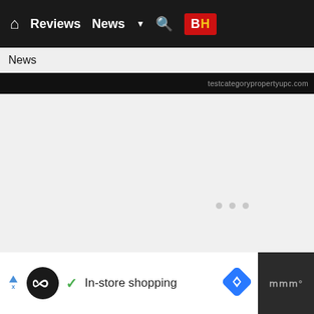Home  Reviews  News  ▼  🔍  B|H
News
[Figure (screenshot): Black banner with partially visible text on the right side]
[Figure (screenshot): Large blank gray content area with three small gray dots near center-right]
[Figure (screenshot): Bottom advertisement bar with Infinity logo, checkmark, In-store shopping text, blue diamond navigation icon, and weather widget on dark background]